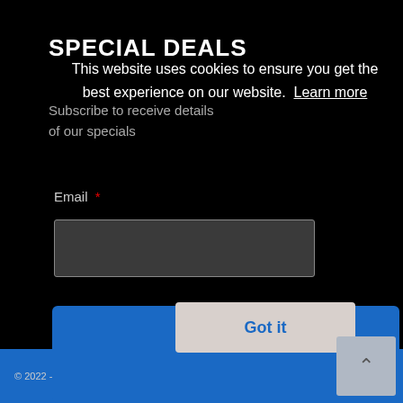SPECIAL DEALS
Subscribe to receive details of our specials
Email *
[Figure (screenshot): Email text input field, dark gray background with gray border]
[Figure (screenshot): SUBSCRIBE button, blue background with white bold text]
This website uses cookies to ensure you get the best experience on our website. Learn more
Got it
© 2022 - Seearco. All rights reserved. Powered by Limelight Online